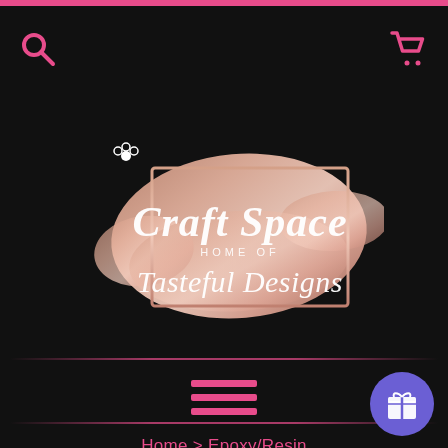Craft Space Home of Tasteful Designs - website header with search and cart icons
[Figure (logo): Craft Space Home of Tasteful Designs logo — rose gold brush stroke background with a decorative frame, script text reading 'Craft Space' and 'Tasteful Designs' with 'HOME OF' in between, small decorative flower/leaf element top left]
[Figure (other): Pink hamburger menu icon (three horizontal pink lines) centered below a pink horizontal divider line]
Home > Epoxy/Resin